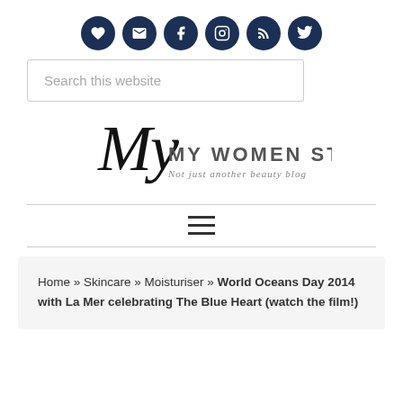Social media icons: heart, email, facebook, instagram, rss, twitter
[Figure (other): Search box with placeholder text 'Search this website']
[Figure (logo): My Women Stuff logo - Not just another beauty blog]
[Figure (other): Hamburger menu icon (three horizontal lines)]
Home » Skincare » Moisturiser » World Oceans Day 2014 with La Mer celebrating The Blue Heart (watch the film!)